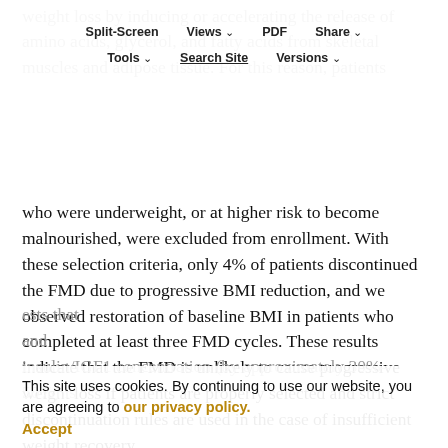Split-Screen | Views | PDF | Share | Tools | Search Site | Versions
weight loss by inducing or accelerating the release of amino acids, glycerol, and fatty acids from skeletal muscles and adipose tissue. For this reason, patients who were underweight, or at higher risk to become malnourished, were excluded from enrollment. With these selection criteria, only 4% of patients discontinued the FMD due to progressive BMI reduction, and we observed restoration of baseline BMI in patients who completed at least three FMD cycles. These results indicate that the FMD is unlikely to cause progressive weight loss if patients are properly selected and strict discontinuation rules are used in the case of insufficient weight recovery.
This site uses cookies. By continuing to use our website, you are agreeing to our privacy policy. Accept